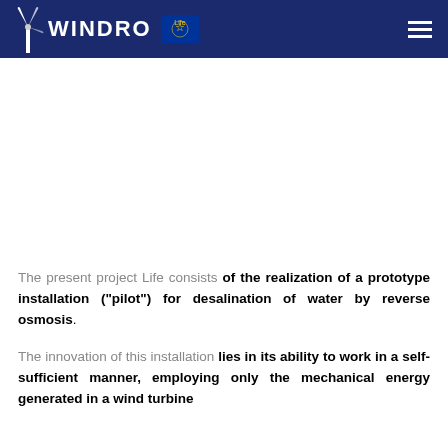WINDRO [EU LIFE logo] [hamburger menu]
The present project Life consists of the realization of a prototype installation ("pilot") for desalination of water by reverse osmosis.
The innovation of this installation lies in its ability to work in a self-sufficient manner, employing only the mechanical energy generated in a wind turbine